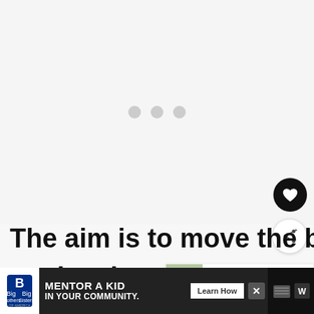[Figure (other): Loading placeholder area with three grey dots indicating content is loading]
[Figure (other): Black circular heart/favorite FAB button]
[Figure (other): White circular share FAB button with share icon]
The aim is to move the ball into the goal, using any part of the b
[Figure (other): WHAT'S NEXT panel: Is Soccer Easy? (How ...)]
[Figure (other): Advertisement banner: Big Brothers Big Sisters - MENTOR A KID IN YOUR COMMUNITY. Learn How]
ap                         ds The